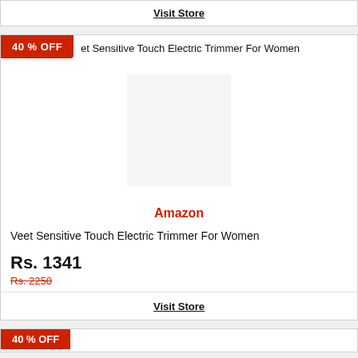Visit Store
40 % OFF
Veet Sensitive Touch Electric Trimmer For Women
Amazon
Veet Sensitive Touch Electric Trimmer For Women
Rs. 1341
Rs. 2250
Visit Store